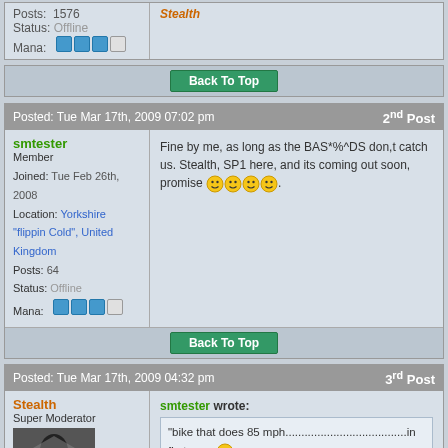Posts: 1576
Status: Offline
Mana: [icons]
Back To Top
Posted: Tue Mar 17th, 2009 07:02 pm — 2nd Post
smtester
Member
Joined: Tue Feb 26th, 2008
Location: Yorkshire "flippin Cold", United Kingdom
Posts: 64
Status: Offline
Mana: [icons]
Fine by me, as long as the BAS*%^DS don,t catch us. Stealth, SP1 here, and its coming out soon, promise [smileys].
Back To Top
Posted: Tue Mar 17th, 2009 04:32 pm — 3rd Post
Stealth
Super Moderator
smtester wrote:
"bike that does 85 mph......................................in first gear [smiley]
[smileys]
TUT TUT TUT. You should know better [smiley]